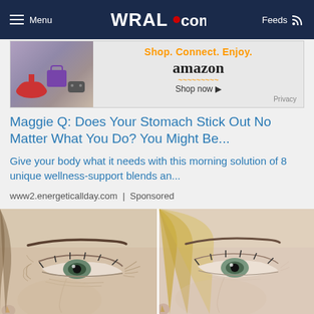Menu | WRAL.com | Feeds
[Figure (screenshot): Amazon advertisement banner: Shop. Connect. Enjoy. amazon Shop now. Privacy]
Maggie Q: Does Your Stomach Stick Out No Matter What You Do? You Might Be...
Give your body what it needs with this morning solution of 8 unique wellness-support blends an...
www2.energeticallday.com | Sponsored
[Figure (photo): Before and after comparison of a woman's eye area showing wrinkles/aging on the left and smoother skin on the right]